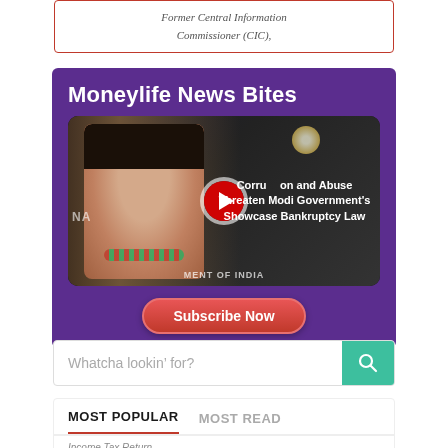Former Central Information Commissioner (CIC),
[Figure (screenshot): Moneylife News Bites promotional banner with purple background, video thumbnail showing a woman, play button, text overlay 'Corruption and Abuse Threaten Modi Government's Showcase Bankruptcy Law', and a Subscribe Now button]
Whatcha lookin' for?
MOST POPULAR   MOST READ